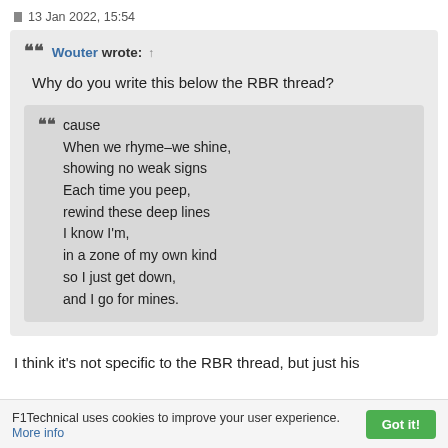13 Jan 2022, 15:54
Wouter wrote: ↑
Why do you write this below the RBR thread?
cause
When we rhyme–we shine,
showing no weak signs
Each time you peep,
rewind these deep lines
I know I'm,
in a zone of my own kind
so I just get down,
and I go for mines.
I think it's not specific to the RBR thread, but just his
F1Technical uses cookies to improve your user experience. More info  Got it!